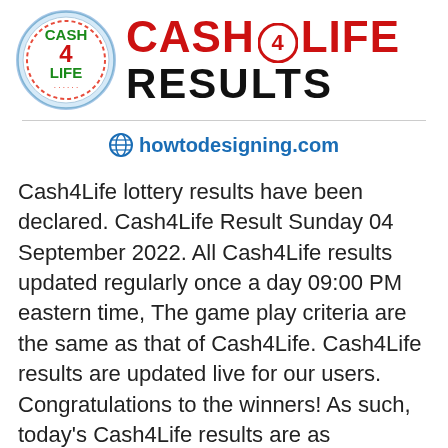[Figure (logo): Cash4Life circular logo with blue border, green text CASH 4 LIFE and dotted ring]
CASH 4 LIFE RESULTS
howtodesigning.com
Cash4Life lottery results have been declared. Cash4Life Result Sunday 04 September 2022. All Cash4Life results updated regularly once a day 09:00 PM eastern time, The game play criteria are the same as that of Cash4Life. Cash4Life results are updated live for our users. Congratulations to the winners! As such, today's Cash4Life results are as follows:   Read more